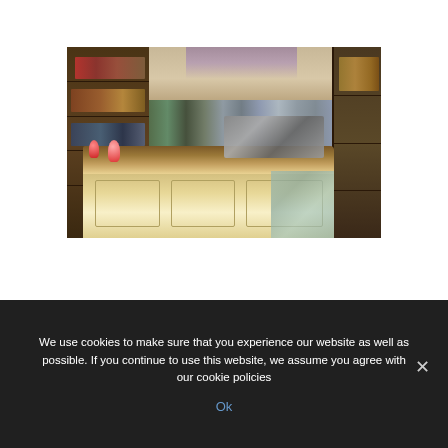[Figure (photo): Interior of a café or bar showing a wooden counter with decorative dolls (matryoshka/folk art figures in red/green) on the left side, shelves stocked with bottles and products on the left wall, espresso machines and bar equipment on the counter, and walls decorated with photographs or tiles. A light-colored tiled floor is visible on the right side.]
We use cookies to make sure that you experience our website as well as possible. If you continue to use this website, we assume you agree with our cookie policies
Ok